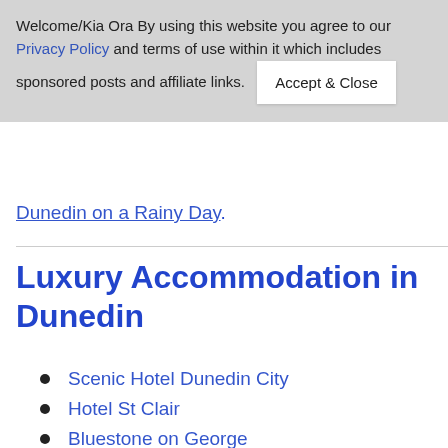Welcome/Kia Ora By using this website you agree to our Privacy Policy and terms of use within it which includes sponsored posts and affiliate links. Accept & Close
Dunedin on a Rainy Day.
Luxury Accommodation in Dunedin
Scenic Hotel Dunedin City
Hotel St Clair
Bluestone on George
Scenic Hotel Southern Cross
Camp Estate
Kingsgate Hotel Dunedin